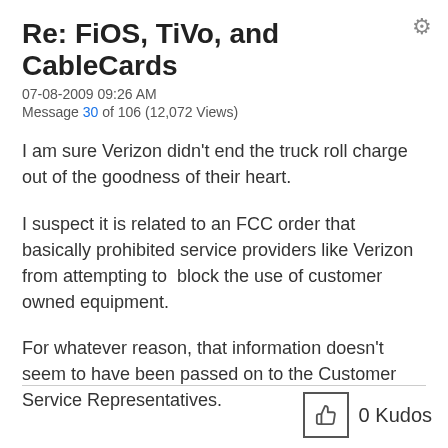Re: FiOS, TiVo, and CableCards
07-08-2009 09:26 AM
Message 30 of 106 (12,072 Views)
I am sure Verizon didn't end the truck roll charge out of the goodness of their heart.
I suspect it is related to an FCC order that basically prohibited service providers like Verizon from attempting to  block the use of customer owned equipment.
For whatever reason, that information doesn't seem to have been passed on to the Customer Service Representatives.
0 Kudos